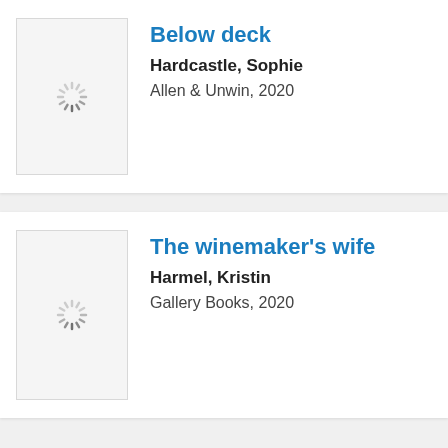[Figure (other): Book cover placeholder with loading spinner for 'Below deck']
Below deck
Hardcastle, Sophie
Allen & Unwin, 2020
[Figure (other): Book cover placeholder with loading spinner for 'The winemaker's wife']
The winemaker's wife
Harmel, Kristin
Gallery Books, 2020